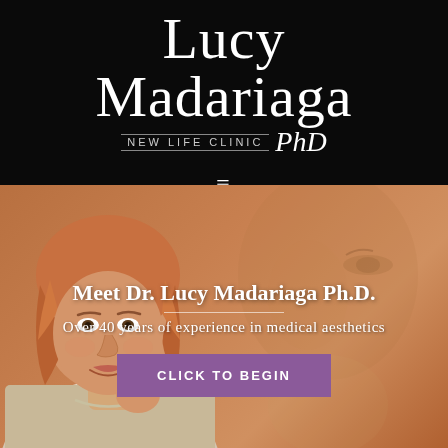[Figure (logo): Lucy Madariaga PhD New Life Clinic logo in white text on black background]
[Figure (illustration): Hamburger/navigation menu icon (three horizontal white lines) on black background]
[Figure (photo): Hero section with warm orange background showing Dr. Lucy Madariaga portrait on left and large faded face in background on right]
Meet Dr. Lucy Madariaga Ph.D.
Over 40 years of experience in medical aesthetics
CLICK TO BEGIN